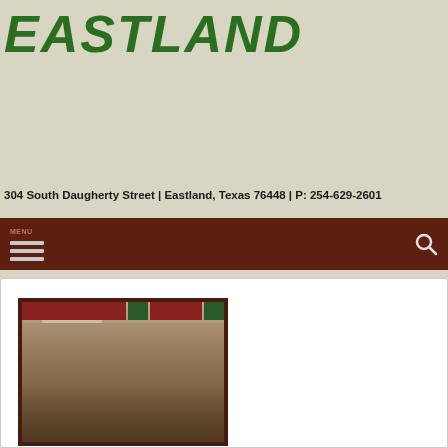EASTLAND
304 South Daugherty Street | Eastland, Texas 76448 | P: 254-629-2601
[Figure (other): Navigation bar with hamburger menu icon and search icon on dark brown background]
[Figure (photo): Vintage sepia-toned photograph of a group of people gathered together, displayed in a dark frame with red and green decorative elements at the top]